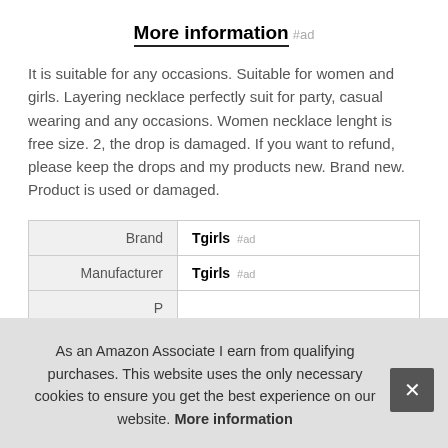More information #ad
It is suitable for any occasions. Suitable for women and girls. Layering necklace perfectly suit for party, casual wearing and any occasions. Women necklace lenght is free size. 2, the drop is damaged. If you want to refund, please keep the drops and my products new. Brand new. Product is used or damaged.
|  |  |
| --- | --- |
| Brand | Tgirls #ad |
| Manufacturer | Tgirls #ad |
| P |  |
As an Amazon Associate I earn from qualifying purchases. This website uses the only necessary cookies to ensure you get the best experience on our website. More information